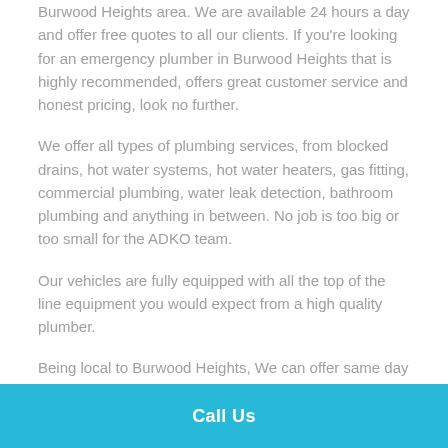Burwood Heights area. We are available 24 hours a day and offer free quotes to all our clients. If you're looking for an emergency plumber in Burwood Heights that is highly recommended, offers great customer service and honest pricing, look no further.
We offer all types of plumbing services, from blocked drains, hot water systems, hot water heaters, gas fitting, commercial plumbing, water leak detection, bathroom plumbing and anything in between. No job is too big or too small for the ADKO team.
Our vehicles are fully equipped with all the top of the line equipment you would expect from a high quality plumber.
Being local to Burwood Heights, We can offer same day service, 24 hours a day, 7 days a week.
Call Us